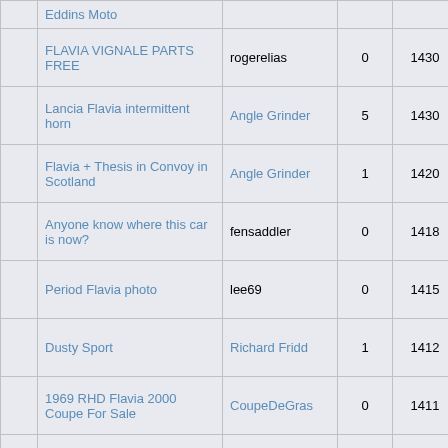|  | Topic | Author | Replies | Views | Last post |
| --- | --- | --- | --- | --- | --- |
|  | Eddins Moto |  |  |  | by DavidLaver |
|  | FLAVIA VIGNALE PARTS FREE | rogerelias | 0 | 1430 | 13 March, 2011, 06:27:23 PM by rogerelias |
|  | Lancia Flavia intermittent horn | Angle Grinder | 5 | 1430 | 17 July, 2021, 07:02:48 PM by Angle Grinder |
|  | Flavia + Thesis in Convoy in Scotland | Angle Grinder | 1 | 1420 | 24 July, 2012, 04:01:16 PM by St Volumex |
|  | Anyone know where this car is now? | fensaddler | 0 | 1418 | 29 March, 2010, 04:24:46 PM by fensaddler |
|  | Period Flavia photo | lee69 | 0 | 1415 | 08 September, 2009, 08:00:45 AM by lee69 |
|  | Dusty Sport | Richard Fridd | 1 | 1412 | 25 September, 2013, 07:10:58 PM by phil-m |
|  | 1969 RHD Flavia 2000 Coupe For Sale | CoupeDeGras | 0 | 1411 | 23 September, 2018, 08:01:24 PM by CoupeDeGras |
|  |  |  |  |  | 12 February, |